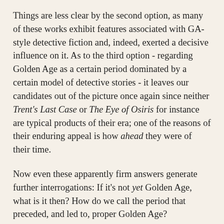Things are less clear by the second option, as many of these works exhibit features associated with GA-style detective fiction and, indeed, exerted a decisive influence on it. As to the third option - regarding Golden Age as a certain period dominated by a certain model of detective stories - it leaves our candidates out of the picture once again since neither Trent's Last Case or The Eye of Osiris for instance are typical products of their era; one of the reasons of their enduring appeal is how ahead they were of their time.
Now even these apparently firm answers generate further interrogations: If it's not yet Golden Age, what is it then? How do we call the period that preceded, and led to, proper Golden Age?
Some scholars including Julian Symons have called it "the first Golden Age" and there is justification for this. The thirty or so years between the first publication of A Study in Scarlet and the outset of the World War I saw the genre coming to maturity - as I've written elsewhere, all of mystery fiction as we know it was either in germ or full-blown by the early 1910s - as well as conquering a vast audience. Most of all, it was marked by some of